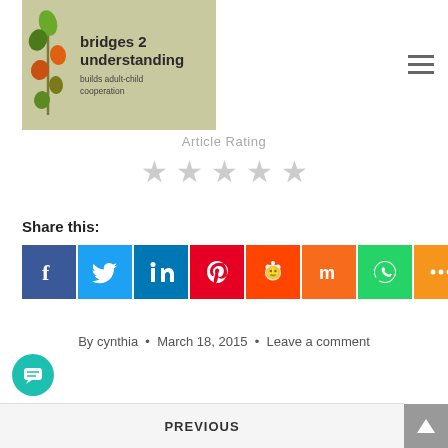[Figure (logo): Bridges 2 Understanding logo - builds adult-child cooperation, with plant/leaf illustration on olive/tan background]
[Figure (other): Hamburger menu icon (three horizontal lines)]
Article Rating
[Figure (other): Five empty/unrated stars for article rating]
Share this:
[Figure (other): Social share buttons: Facebook, Twitter, LinkedIn, Pinterest, Reddit, Mix, WhatsApp, Share]
By cynthia • March 18, 2015 • Leave a comment
PREVIOUS